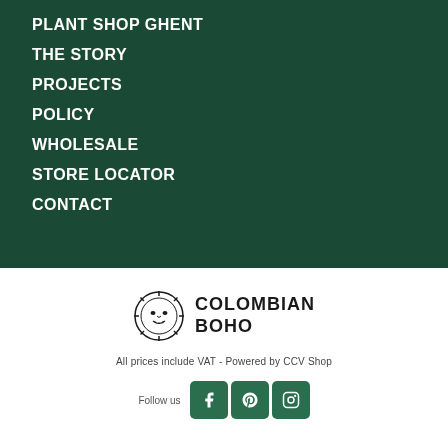PLANT SHOP GHENT
THE STORY
PROJECTS
POLICY
WHOLESALE
STORE LOCATOR
CONTACT
[Figure (logo): Colombian Boho logo with sun/face emblem and bold text reading COLOMBIAN BOHO]
All prices include VAT - Powered by CCV Shop
Follow us [Facebook icon] [Pinterest icon] [Instagram icon]